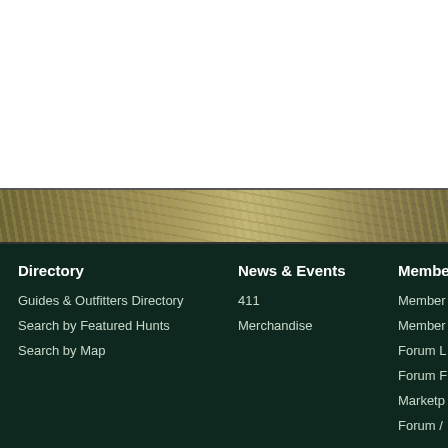[Figure (photo): Fish scales close-up banner image strip]
Directory
Guides & Outfitters Directory
Search by Featured Hunts
Search by Map
News & Events
411
Merchandise
Membe
Member
Member
Forum L
Forum F
Marketp
Forum /